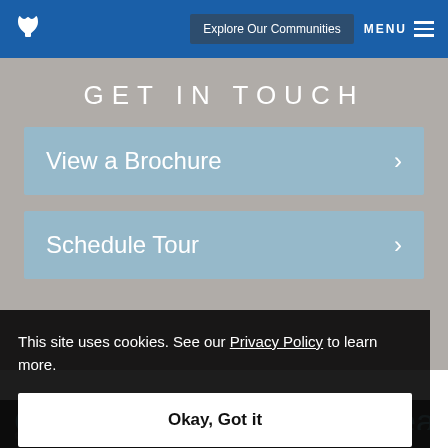Explore Our Communities  MENU
GET IN TOUCH
View a Brochure >
Schedule Tour >
This site uses cookies. See our Privacy Policy to learn more.
Okay, Got it
Grand Villa of Deerfield Beach
1050 SW 24th Ave
Deerfield Beach, FL 33442 US
954-379-2953  Email